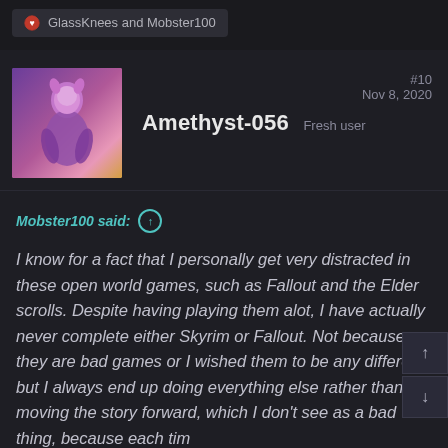GlassKnees and Mobster100
Amethyst-056  Fresh user  #10  Nov 8, 2020
Mobster100 said:
I know for a fact that I personally get very distracted in these open world games, such as Fallout and the Elder scrolls. Despite having playing them alot, I have actually never complete either Skyrim or Fallout. Not because they are bad games or I wished them to be any different, but I always end up doing everything else rather than moving the story forward, which I don't see as a bad thing, because each tim Click to expand...